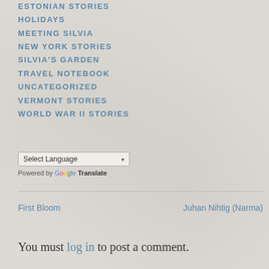ESTONIAN STORIES
HOLIDAYS
MEETING SILVIA
NEW YORK STORIES
SILVIA'S GARDEN
TRAVEL NOTEBOOK
UNCATEGORIZED
VERMONT STORIES
WORLD WAR II STORIES
Select Language
Powered by Google Translate
First Bloom
Juhan Nihtig (Narma)
You must log in to post a comment.